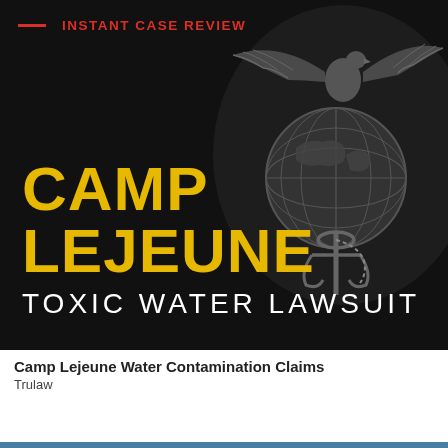— INSTANT CASE REVIEW
[Figure (illustration): Dark background with USMC Eagle Globe and Anchor emblem on the right side, with large bold text 'CAMP LEJEUNE' in gold/yellow and 'TOXIC WATER LAWSUIT' in white capital letters below]
Camp Lejeune Water Contamination Claims
Trulaw